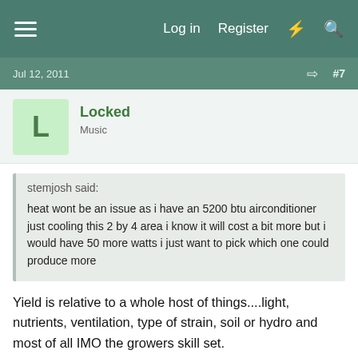Log in   Register
Jul 12, 2011  #7
Locked
Music
stemjosh said:
heat wont be an issue as i have an 5200 btu airconditioner just cooling this 2 by 4 area i know it will cost a bit more but i would have 50 more watts i just want to pick which one could produce more
Yield is relative to a whole host of things....light, nutrients, ventilation, type of strain, soil or hydro and most of all IMO the growers skill set.

Jmo